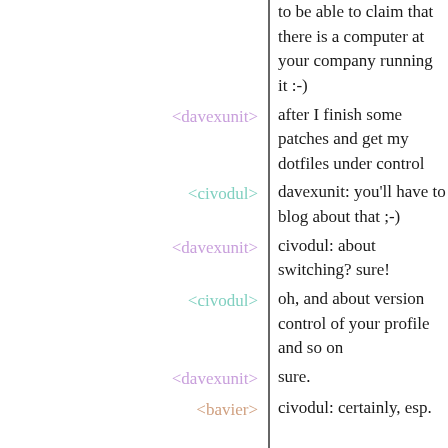to be able to claim that there is a computer at your company running it :-)
<davexunit> after I finish some patches and get my dotfiles under control
<civodul> davexunit: you'll have to blog about that ;-)
<davexunit> civodul: about switching? sure!
<civodul> oh, and about version control of your profile and so on
<davexunit> sure.
<bavier> civodul: certainly, esp.